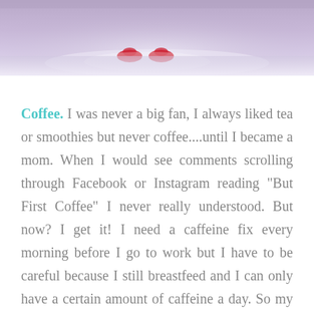[Figure (photo): Partial photo showing feet in red shoes, possibly a bride in a white dress, with a sparkly/sandy background. Purple-toned filter.]
Coffee. I was never a big fan, I always liked tea or smoothies but never coffee....until I became a mom. When I would see comments scrolling through Facebook or Instagram reading “But First Coffee” I never really understood. But now? I get it! I need a caffeine fix every morning before I go to work but I have to be careful because I still breastfeed and I can only have a certain amount of caffeine a day. So my “go to” drink at Starbucks is an iced chai, coconut milk with a single shot. It is truly the little things in life that make all of the difference (and keep me awake).